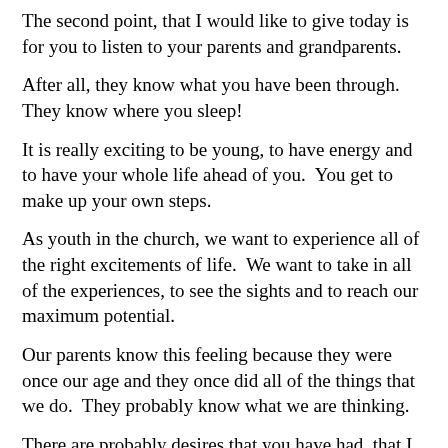The second point, that I would like to give today is for you to listen to your parents and grandparents.
After all, they know what you have been through.  They know where you sleep!
It is really exciting to be young, to have energy and to have your whole life ahead of you.  You get to make up your own steps.
As youth in the church, we want to experience all of the right excitements of life.  We want to take in all of the experiences, to see the sights and to reach our maximum potential.
Our parents know this feeling because they were once our age and they once did all of the things that we do.  They probably know what we are thinking.
There are probably desires that you have had, that I haven't had yet.  This can be a hard thing to understand